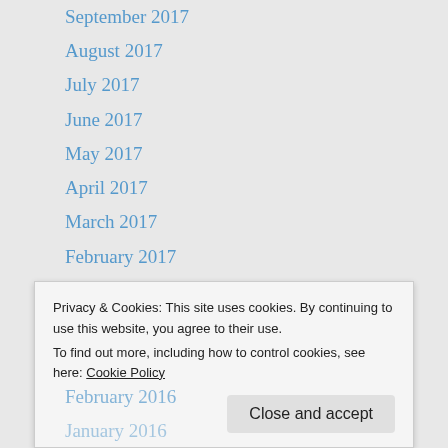September 2017
August 2017
July 2017
June 2017
May 2017
April 2017
March 2017
February 2017
January 2017
December 2016
November 2016
October 2016
September 2016
August 2016
Privacy & Cookies: This site uses cookies. By continuing to use this website, you agree to their use.
To find out more, including how to control cookies, see here: Cookie Policy
February 2016
January 2016